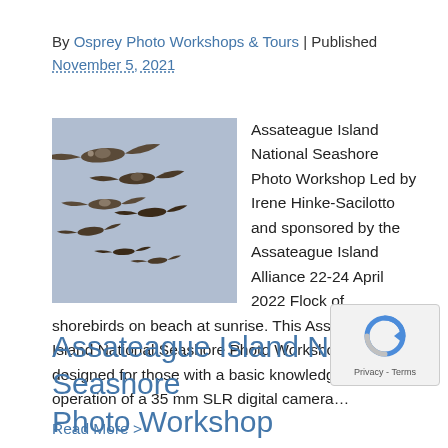By Osprey Photo Workshops & Tours | Published November 5, 2021
[Figure (photo): Flock of birds (pelicans/shorebirds) in flight against a blue-grey sky]
Assateague Island National Seashore Photo Workshop Led by Irene Hinke-Sacilotto and sponsored by the Assateague Island Alliance 22-24 April 2022 Flock of shorebirds on beach at sunrise. This Assateague Island National Seashore Photo Workshop is designed for those with a basic knowledge of the operation of a 35 mm SLR digital camera…
Read More >
Assateague Island National Seashore Photo Workshop